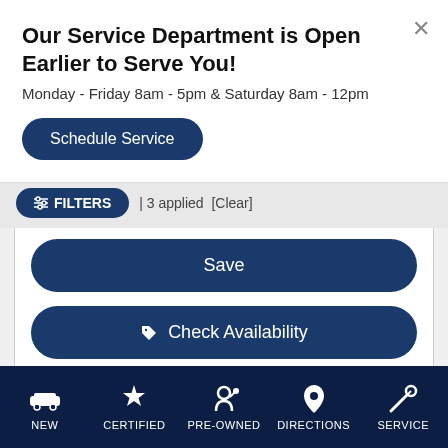Our Service Department is Open Earlier to Serve You!
Monday - Friday 8am - 5pm & Saturday 8am - 12pm
Schedule Service
FILTERS | 3 applied [Clear]
Save
Check Availability
[Figure (photo): Volkswagen dealership exterior with VW logo on glass canopy entrance]
NEW
CERTIFIED
PRE-OWNED
DIRECTIONS
SERVICE